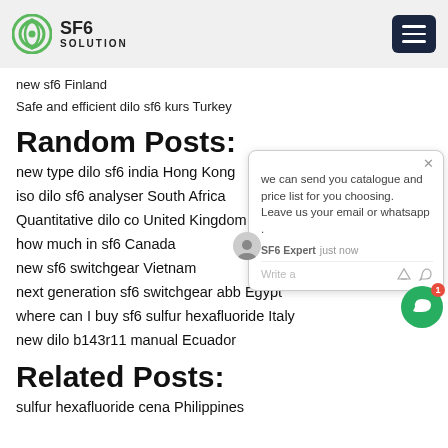SF6 SOLUTION
new sf6 Finland
Safe and efficient dilo sf6 kurs Turkey
Random Posts:
new type dilo sf6 india Hong Kong
iso dilo sf6 analyser South Africa
Quantitative dilo co United Kingdom
how much in sf6 Canada
new sf6 switchgear Vietnam
next generation sf6 switchgear abb Egypt
where can I buy sf6 sulfur hexafluoride Italy
new dilo b143r11 manual Ecuador
Related Posts:
sulfur hexafluoride cena Philippines